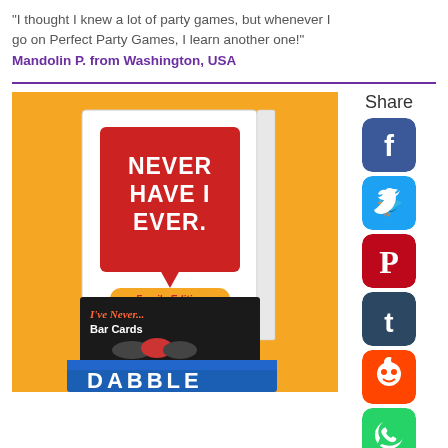"I thought I knew a lot of party games, but whenever I go on Perfect Party Games, I learn another one!"
Mandolin P. from Washington, USA
[Figure (photo): Stack of party game boxes (Never Have I Ever Family Edition, I've Never Bar Cards, Dabble) on orange background]
[Figure (infographic): Share sidebar with social media icons: Facebook, Twitter, Pinterest, Tumblr, Reddit, WhatsApp, Messenger, and a right arrow]